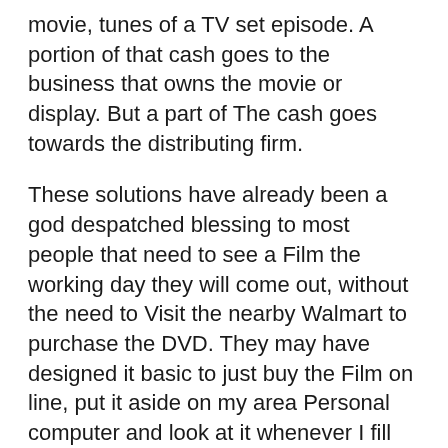movie, tunes of a TV set episode. A portion of that cash goes to the business that owns the movie or display. But a part of The cash goes towards the distributing firm.
These solutions have already been a god despatched blessing to most people that need to see a Film the working day they will come out, without the need to Visit the nearby Walmart to purchase the DVD. They may have designed it basic to just buy the Film on line, put it aside on my area Personal computer and look at it whenever I fill match. This causes it to be quick to watch the movie on the web on a computer, on a ipod or import it to a tool like a xbox 360 and view it over a Television set.